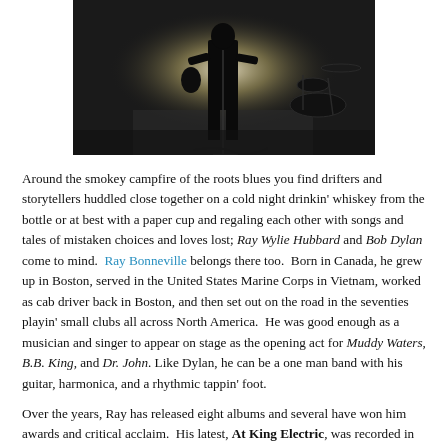[Figure (photo): Black and white photograph of a silhouetted musician on stage, with drum kit visible in background, backlit by bright light]
Around the smokey campfire of the roots blues you find drifters and storytellers huddled close together on a cold night drinkin' whiskey from the bottle or at best with a paper cup and regaling each other with songs and tales of mistaken choices and loves lost; Ray Wylie Hubbard and Bob Dylan come to mind. Ray Bonneville belongs there too. Born in Canada, he grew up in Boston, served in the United States Marine Corps in Vietnam, worked as cab driver back in Boston, and then set out on the road in the seventies playin' small clubs all across North America. He was good enough as a musician and singer to appear on stage as the opening act for Muddy Waters, B.B. King, and Dr. John. Like Dylan, he can be a one man band with his guitar, harmonica, and a rhythmic tappin' foot.
Over the years, Ray has released eight albums and several have won him awards and critical acclaim. His latest, At King Electric, was recorded in Austin, the natural home of the roots